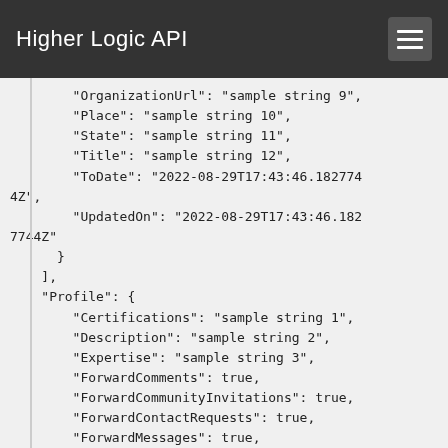Higher Logic API
"OrganizationUrl": "sample string 9",
        "Place": "sample string 10",
        "State": "sample string 11",
        "Title": "sample string 12",
        "ToDate": "2022-08-29T17:43:46.1827744Z",
        "UpdatedOn": "2022-08-29T17:43:46.1827744Z"
    }
],
"Profile": {
    "Certifications": "sample string 1",
    "Description": "sample string 2",
    "Expertise": "sample string 3",
    "ForwardComments": true,
    "ForwardCommunityInvitations": true,
    "ForwardContactRequests": true,
    "ForwardMessages": true,
    "Groups": "sample string 8",
    "ImageHeight": 9,
    "ImageWidth": 10,
    "Interests": "sample string 11"